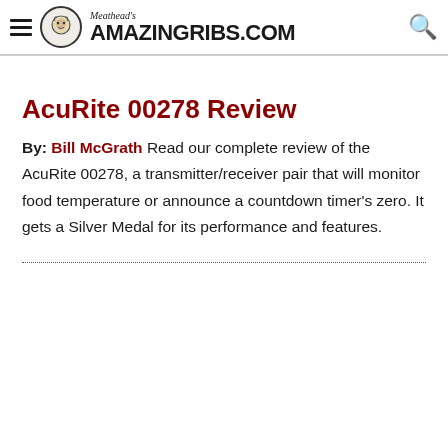Meathead's AmazingRibs.com
AcuRite 00278 Review
By: Bill McGrath Read our complete review of the AcuRite 00278, a transmitter/receiver pair that will monitor food temperature or announce a countdown timer's zero. It gets a Silver Medal for its performance and features.